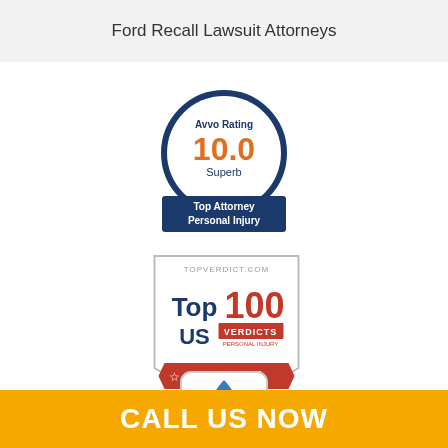Ford Recall Lawsuit Attorneys
[Figure (logo): Avvo Rating 10.0 Superb - Top Attorney Personal Injury badge, circular dark blue badge with orange 10.0 rating]
[Figure (logo): TopVerdict.com Top 100 Verdicts US badge with New York ribbon and 2016 date, shield shaped silver and red badge]
[Figure (logo): Blue teardrop/diamond shaped logo partially visible at bottom]
CALL US NOW